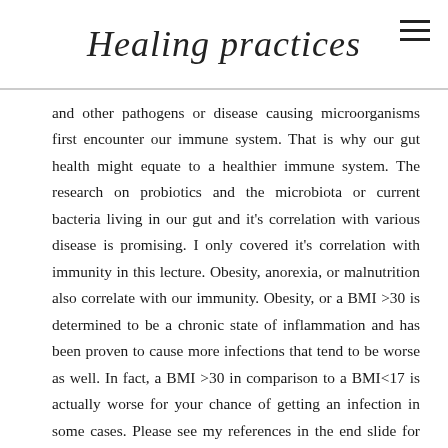Healing practices
and other pathogens or disease causing microorganisms first encounter our immune system. That is why our gut health might equate to a healthier immune system. The research on probiotics and the microbiota or current bacteria living in our gut and it's correlation with various disease is promising. I only covered it's correlation with immunity in this lecture. Obesity, anorexia, or malnutrition also correlate with our immunity. Obesity, or a BMI >30 is determined to be a chronic state of inflammation and has been proven to cause more infections that tend to be worse as well. In fact, a BMI >30 in comparison to a BMI<17 is actually worse for your chance of getting an infection in some cases. Please see my references in the end slide for these papers.